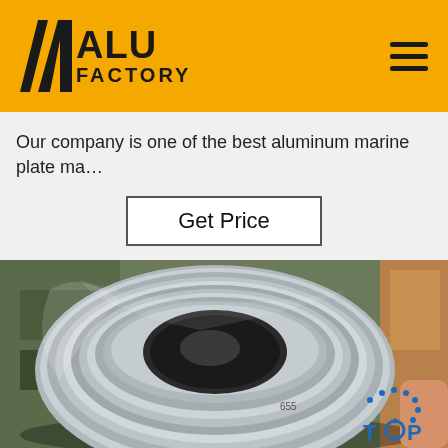ALU FACTORY
Our company is one of the best aluminum marine plate ma…
Get Price
[Figure (photo): Large aluminum coil roll photographed in an industrial warehouse setting, showing the characteristic shiny metallic finish and hollow center core of a rolled aluminum strip product.]